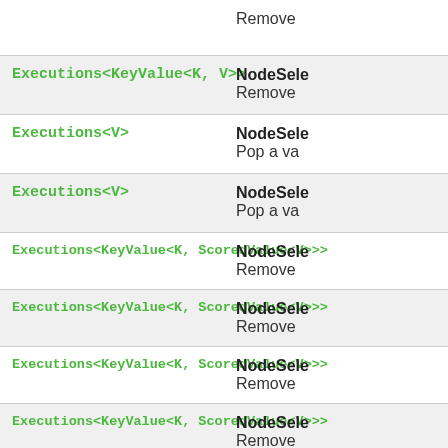| Type | Description |
| --- | --- |
|  | Remove |
| Executions<KeyValue<K, V>> | NodeSele
Remove |
| Executions<V> | NodeSele
Pop a va |
| Executions<V> | NodeSele
Pop a va |
| Executions<KeyValue<K, ScoredValue<V>>> | NodeSele
Remove |
| Executions<KeyValue<K, ScoredValue<V>>> | NodeSele
Remove |
| Executions<KeyValue<K, ScoredValue<V>>> | NodeSele
Remove |
| Executions<KeyValue<K, ScoredValue<V>>> | NodeSele
Remove |